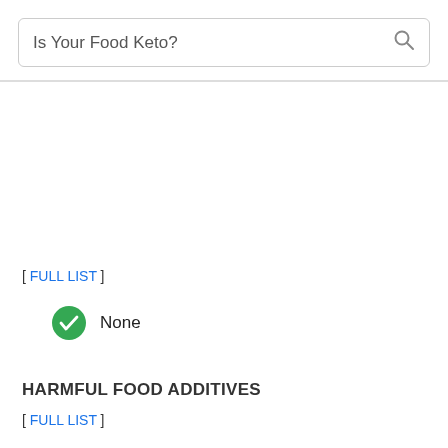Is Your Food Keto?
[ FULL LIST ]
None
HARMFUL FOOD ADDITIVES
[ FULL LIST ]